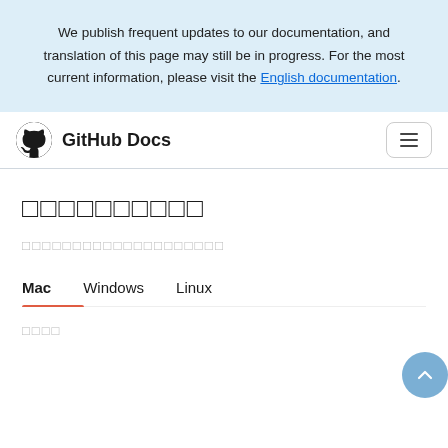We publish frequent updates to our documentation, and translation of this page may still be in progress. For the most current information, please visit the English documentation.
GitHub Docs
□□□□□□□□□□
□□□□□□□□□□□□□□□□□□□□
Mac   Windows   Linux
□□□□